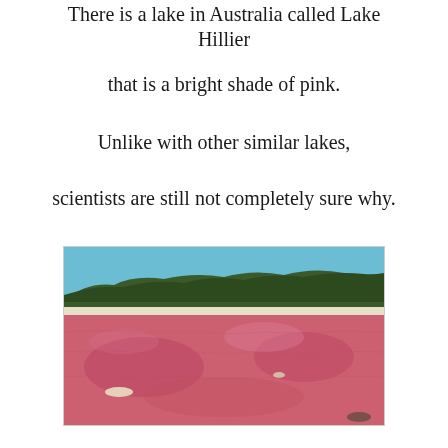There is a lake in Australia called Lake Hillier
that is a bright shade of pink.
Unlike with other similar lakes,
scientists are still not completely sure why.
[Figure (photo): Aerial/ground-level photograph of Lake Hillier in Australia showing bright pink water with white salt edges, green shrubby trees and hills in the background, and blue sky. Small white objects visible floating on the pink water surface.]